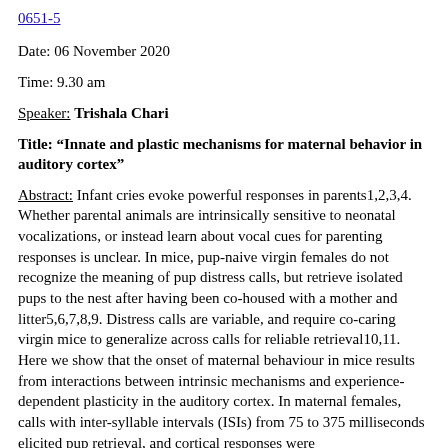0651-5
Date: 06 November 2020
Time: 9.30 am
Speaker: Trishala Chari
Title: “Innate and plastic mechanisms for maternal behavior in auditory cortex”
Abstract: Infant cries evoke powerful responses in parents1,2,3,4. Whether parental animals are intrinsically sensitive to neonatal vocalizations, or instead learn about vocal cues for parenting responses is unclear. In mice, pup-naive virgin females do not recognize the meaning of pup distress calls, but retrieve isolated pups to the nest after having been co-housed with a mother and litter5,6,7,8,9. Distress calls are variable, and require co-caring virgin mice to generalize across calls for reliable retrieval10,11. Here we show that the onset of maternal behaviour in mice results from interactions between intrinsic mechanisms and experience-dependent plasticity in the auditory cortex. In maternal females, calls with inter-syllable intervals (ISIs) from 75 to 375 milliseconds elicited pup retrieval, and cortical responses were